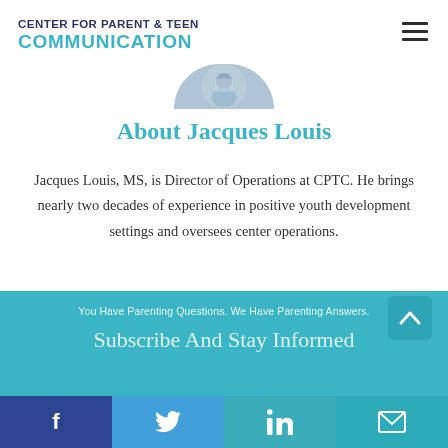CENTER FOR PARENT & TEEN COMMUNICATION
[Figure (photo): Partial circular profile photo of Jacques Louis, showing top portion of a man in a suit]
About Jacques Louis
Jacques Louis, MS, is Director of Operations at CPTC. He brings nearly two decades of experience in positive youth development settings and oversees center operations.
READ MORE ARTICLES BY THIS AUTHOR
You Have Parenting Questions. We Have Parenting Answers.
Subscribe And Stay Informed
f  Twitter  in  Email